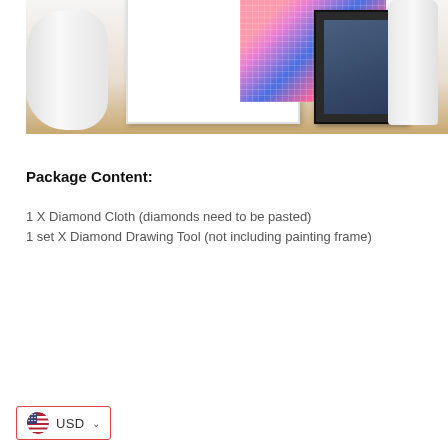[Figure (photo): Product photo showing a framed diamond painting artwork with colorful floral/butterfly design in a white frame, a dark framed picture, a white cylindrical container, placed on a wooden surface.]
Package Content:
1 X Diamond Cloth (diamonds need to be pasted)
1 set X Diamond Drawing Tool (not including painting frame)
Shipping: